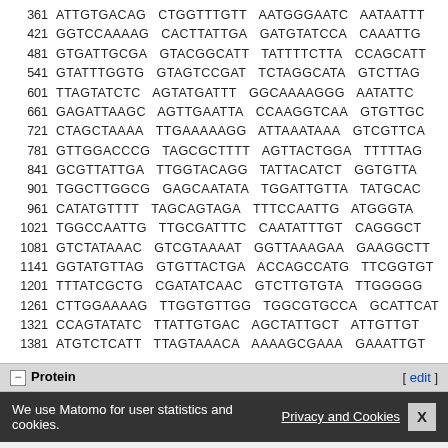361 ATTGTGACAG CTGGTTTGTT AATGGGAATC AATAATTT
421 GGTCCAAAAG CACTTATTGA GATGTATCCA CAAATTG
481 GTGATTGCGA GTACGGCATT TATTTTCTTA CCAGCATT
541 GTATTTGGTG GTAGTCCGAT TCTAGGCATA GTCTTAG
601 TTAGTATCTC AGTATGATTT GGCAAAAGGG AATATTC
661 GAGATTAAGC AGTTGAATTA CCAAGGTCAA GTGTTGC
721 CTAGCTAAAA TTGAAAAAGG ATTAAATAAA GTCGTTCA
781 GTTGGACCCG TAGCGCTTTT AGTTACTGGA TTTTTAG
841 GCGTTATTGA TTGGTACAGG TATTACATCT GGTGTTA
901 TGGCTTGGCG GAGCAATATA TGGATTGTTA TATGCAC
961 CATATGTTTT TAGCAGTAGA TTTCCAATTG ATGGGTA
1021 TGGCCAATTG TTGCGATTTC CAATATTTGT CAGGGCT
1081 GTCTATAAAC GTCGTAAAAT GGTTAAAGAA GAAGGCTT
1141 GGTATGTTAG GTGTTACTGA ACCAGCCATG TTCGGTGT
1201 TTTATCGCTG CGATATCAAC GTCTTGTGTA TTGGGGG
1261 CTTGGAAAAG TTGGTGTTGG TGGCGTGCCA GCATTCAT
1321 CCAGTATATC TTATTGTGAC AGCTATTGCT ATTGTTGT
1381 ATGTCTCATT TTAGTAAACA AAAAGCGAAA GAAATTGT
Protein
General
locus tag: NWMN_RS02475 [e...